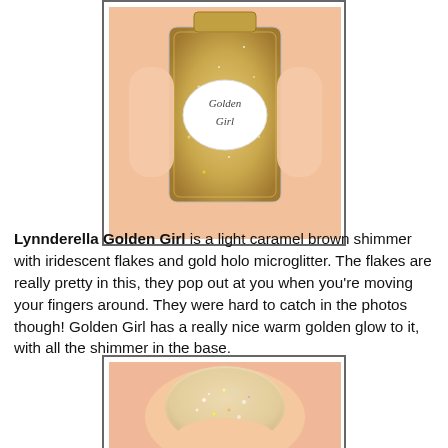[Figure (photo): A hand holding a square glass nail polish bottle labeled 'Golden Girl' with a scalloped white label, filled with gold glitter shimmer polish.]
Lynnderella Golden Girl is a light caramel brown shimmer with iridescent flakes and gold holo microglitter. The flakes are really pretty in this, they pop out at you when you're moving your fingers around. They were hard to catch in the photos though! Golden Girl has a really nice warm golden glow to it, with all the shimmer in the base.
[Figure (photo): Close-up macro photo of a fingernail painted with Lynnderella Golden Girl nail polish showing gold glitter and iridescent flakes on a rounded nail.]